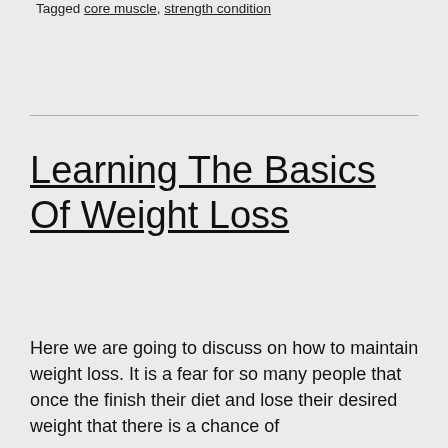Tagged core muscle, strength condition
Learning The Basics Of Weight Loss
Here we are going to discuss on how to maintain weight loss. It is a fear for so many people that once the finish their diet and lose their desired weight that there is a chance of